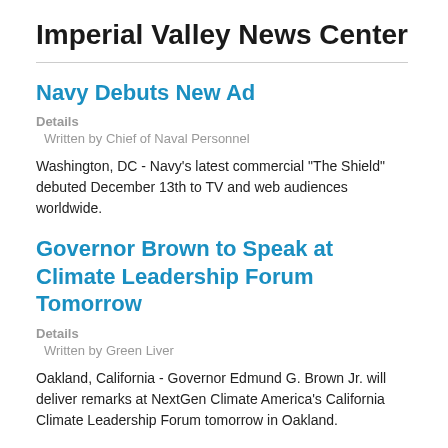Imperial Valley News Center
Navy Debuts New Ad
Details
  Written by Chief of Naval Personnel
Washington, DC - Navy's latest commercial "The Shield" debuted December 13th to TV and web audiences worldwide.
Governor Brown to Speak at Climate Leadership Forum Tomorrow
Details
  Written by Green Liver
Oakland, California - Governor Edmund G. Brown Jr. will deliver remarks at NextGen Climate America's California Climate Leadership Forum tomorrow in Oakland.